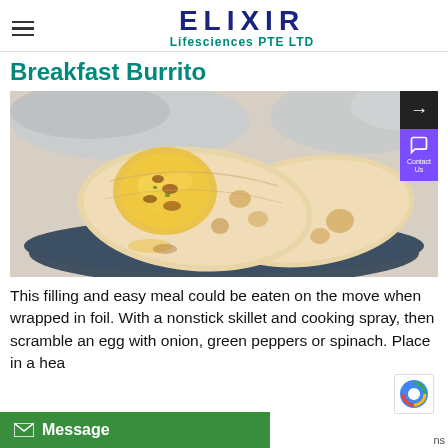ELIXIR Lifesciences PTE LTD
Breakfast Burrito
[Figure (photo): Two breakfast burritos on a dark plate, filled with scrambled eggs and meat, wrapped in flour tortillas, with aluminum foil in the background.]
This filling and easy meal could be eaten on the move when wrapped in foil. With a nonstick skillet and cooking spray, then scramble an egg with onion, green peppers or spinach. Place in a hea... about to till... sprinkle with... after to be done...